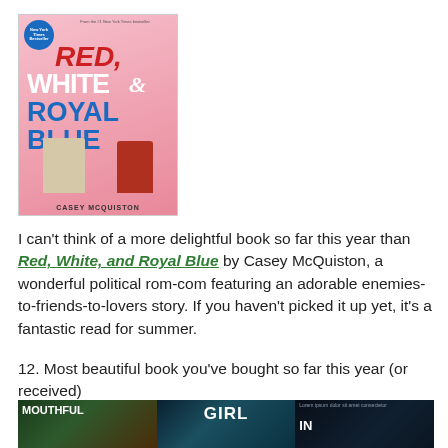[Figure (photo): Book cover of Red, White & Royal Blue by Casey McQuiston. Pink background with illustrated characters, bold title text in red, white, and blue.]
I can't think of a more delightful book so far this year than Red, White, and Royal Blue by Casey McQuiston, a wonderful political rom-com featuring an adorable enemies-to-friends-to-lovers story. If you haven't picked it up yet, it's a fantastic read for summer.
12. Most beautiful book you've bought so far this year (or received)
[Figure (photo): Three book covers side by side: Mouthful (left, dark green/brown), Girl (center, dark teal with colorful particles), and a third book with IN visible (right, dark blue).]